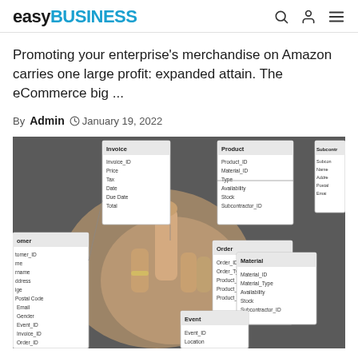easyBUSINESS
Promoting your enterprise's merchandise on Amazon carries one large profit: expanded attain. The eCommerce big ...
By Admin  ⊙ January 19, 2022
[Figure (photo): A hand touching a database entity-relationship diagram showing tables: Customer, Invoice, Product, Order, Material, Subcontractor, Event with their fields]